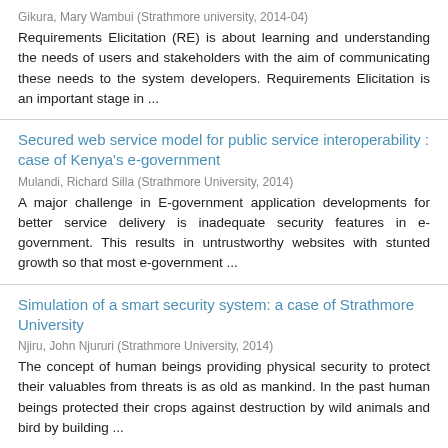Gikura, Mary Wambui (Strathmore university, 2014-04)
Requirements Elicitation (RE) is about learning and understanding the needs of users and stakeholders with the aim of communicating these needs to the system developers. Requirements Elicitation is an important stage in ...
Secured web service model for public service interoperability : case of Kenya's e-government
Mulandi, Richard Silla (Strathmore University, 2014)
A major challenge in E-government application developments for better service delivery is inadequate security features in e-government. This results in untrustworthy websites with stunted growth so that most e-government ...
Simulation of a smart security system: a case of Strathmore University
Njiru, John Njururi (Strathmore University, 2014)
The concept of human beings providing physical security to protect their valuables from threats is as old as mankind. In the past human beings protected their crops against destruction by wild animals and bird by building ...
A smart phone based dodel for tracing beef products in